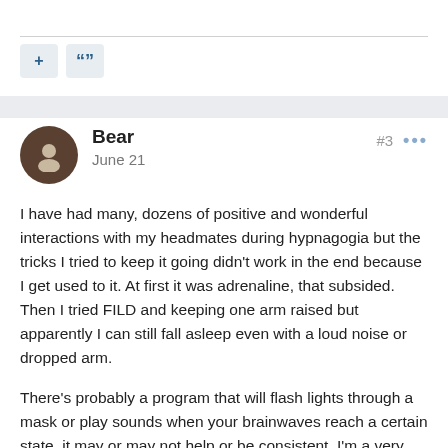[Figure (other): Toolbar with plus (+) and quote (““) buttons on a light background, separated by a horizontal rule above]
Bear
June 21
#3 •••
I have had many, dozens of positive and wonderful interactions with my headmates during hypnagogia but the tricks I tried to keep it going didn't work in the end because I get used to it. At first it was adrenaline, that subsided. Then I tried FILD and keeping one arm raised but apparently I can still fall asleep even with a loud noise or dropped arm.
There's probably a program that will flash lights through a mask or play sounds when your brainwaves reach a certain state, it may or may not help or be consistent. I'm a very heavy sleeper when I go to sleep at night and very light after a few hours.
I have noticed by experience and been reminded that...